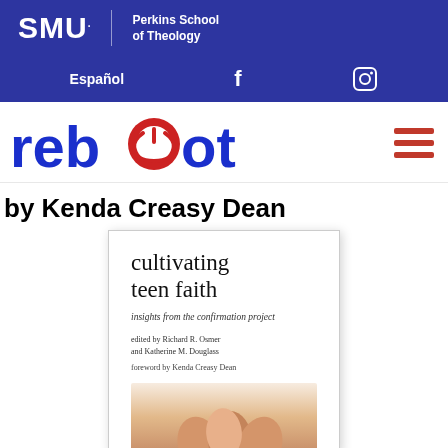[Figure (logo): SMU Perkins School of Theology logo with white text on blue background]
Español  [Facebook icon]  [Instagram icon]
[Figure (logo): Reboot logo in blue with power icon replacing letter 'o', with hamburger menu icon]
by Kenda Creasy Dean
[Figure (illustration): Book cover: 'cultivating teen faith – insights from the confirmation project', edited by Richard R. Osmer and Katherine M. Douglass, foreword by Kenda Creasy Dean, with hands raised image at bottom]